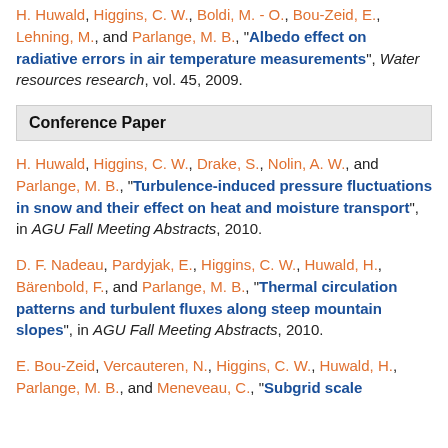H. Huwald, Higgins, C. W., Boldi, M. - O., Bou-Zeid, E., Lehning, M., and Parlange, M. B., "Albedo effect on radiative errors in air temperature measurements", Water resources research, vol. 45, 2009.
Conference Paper
H. Huwald, Higgins, C. W., Drake, S., Nolin, A. W., and Parlange, M. B., "Turbulence-induced pressure fluctuations in snow and their effect on heat and moisture transport", in AGU Fall Meeting Abstracts, 2010.
D. F. Nadeau, Pardyjak, E., Higgins, C. W., Huwald, H., Bärenbold, F., and Parlange, M. B., "Thermal circulation patterns and turbulent fluxes along steep mountain slopes", in AGU Fall Meeting Abstracts, 2010.
E. Bou-Zeid, Vercauteren, N., Higgins, C. W., Huwald, H., Parlange, M. B., and Meneveau, C., "Subgrid scale ...